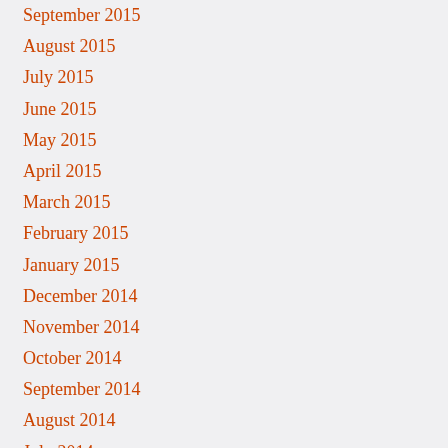September 2015
August 2015
July 2015
June 2015
May 2015
April 2015
March 2015
February 2015
January 2015
December 2014
November 2014
October 2014
September 2014
August 2014
July 2014
June 2014
May 2014